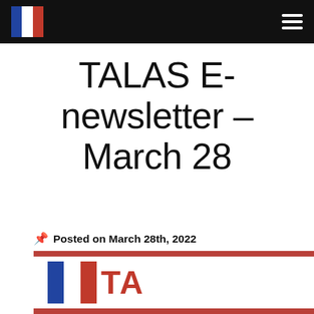TALAS [logo] [hamburger menu]
TALAS E-newsletter – March 28
📌 Posted on March 28th, 2022
[Figure (logo): TALAS logo partially visible at bottom of page inside a red-bordered newsletter preview section]